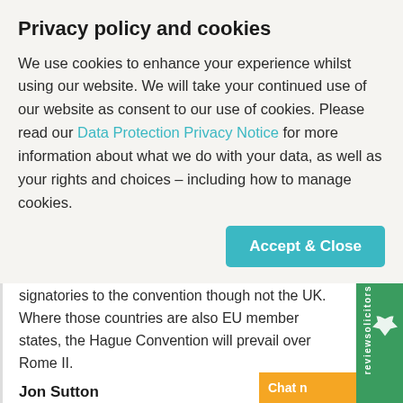Privacy policy and cookies
We use cookies to enhance your experience whilst using our website. We will take your continued use of our website as consent to our use of cookies. Please read our Data Protection Privacy Notice for more information about what we do with your data, as well as your rights and choices – including how to manage cookies.
[partially visible] ...arise decisions. Twenty two countries are signatories to the convention though not the UK. Where those countries are also EU member states, the Hague Convention will prevail over Rome II.
Jon Sutton
Next up was Spanish lawyer, Jon Sutton of Spanish law firm De Cotta Law. Jon is the [cut off] of the international personal injury litigatio[n cut off]